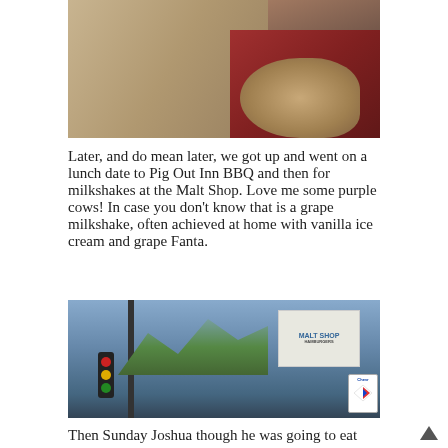[Figure (photo): Close-up photo of a dog or pet resting on fabric/blanket, showing fur and red/maroon background]
Later, and do mean later, we got up and went on a lunch date to Pig Out Inn BBQ and then for milkshakes at the Malt Shop. Love me some purple cows! In case you don't know that is a grape milkshake, often achieved at home with vanilla ice cream and grape Fanta.
[Figure (photo): Outdoor photo of a Malt Shop sign on a pole, with a traffic light, trees, blue sky, parked cars, and a Chevron sign visible]
Then Sunday Joshua though he was going to eat Cherrios off a chair in the